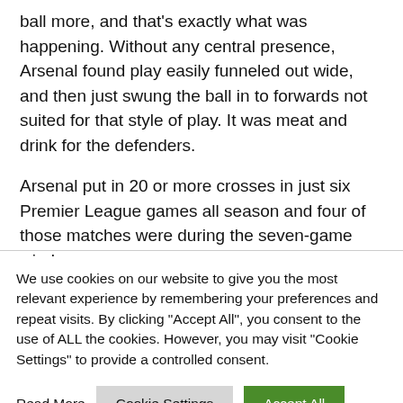ball more, and that's exactly what was happening. Without any central presence, Arsenal found play easily funneled out wide, and then just swung the ball in to forwards not suited for that style of play. It was meat and drink for the defenders.

Arsenal put in 20 or more crosses in just six Premier League games all season and four of those matches were during the seven-game win-less run.
We use cookies on our website to give you the most relevant experience by remembering your preferences and repeat visits. By clicking "Accept All", you consent to the use of ALL the cookies. However, you may visit "Cookie Settings" to provide a controlled consent.